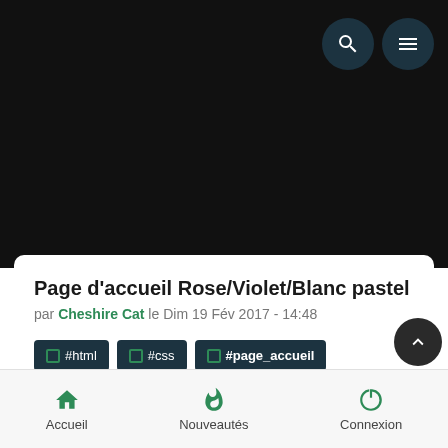[Figure (screenshot): Black header area of a mobile app/website]
Page d'accueil Rose/Violet/Blanc pastel
par Cheshire Cat le Dim 19 Fév 2017 - 14:48
#html
#css
#page_accueil
#effet_hover
#transition
#auteur_Cheshire_Cat
Accueil   Nouveautés   Connexion